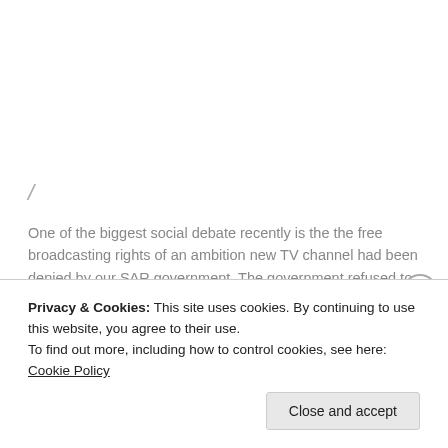/
One of the biggest social debate recently is the the free broadcasting rights of an ambition new TV channel had been denied by our SAR government. The government refused to reveal the internal confidential documents that explained why 1 out of 3 channel candidates was turned down. The turned down candidate HKTV had shown the public their production works, and it’s widely accepted and recognized. What we audience see is their passion and opportunities offered in their company. Their leader encouraged the use of young talents, not just the casts but the behind the scene personnel such as directors, producers and the re-
Privacy & Cookies: This site uses cookies. By continuing to use this website, you agree to their use.
To find out more, including how to control cookies, see here: Cookie Policy
Close and accept